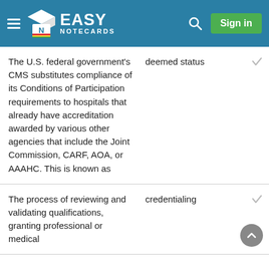[Figure (logo): Easy Notecards website header with logo, hamburger menu, search icon, and Sign in button]
The U.S. federal government's CMS substitutes compliance of its Conditions of Participation requirements to hospitals that already have accreditation awarded by various other agencies that include the Joint Commission, CARF, AOA, or AAAHC. This is known as
deemed status
The process of reviewing and validating qualifications, granting professional or medical
credentialing